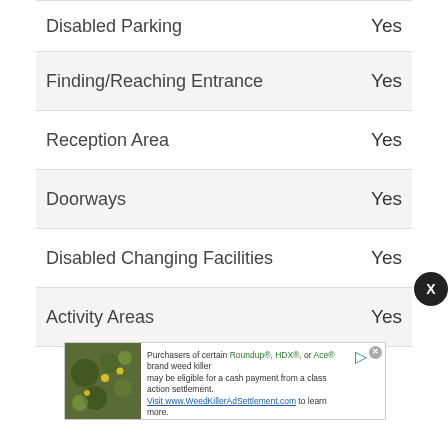| Feature | Available |
| --- | --- |
| Disabled Parking | Yes |
| Finding/Reaching Entrance | Yes |
| Reception Area | Yes |
| Doorways | Yes |
| Disabled Changing Facilities | Yes |
| Activity Areas | Yes |
[Figure (other): Advertisement banner for Roundup/HDX/Ace weed killer class action settlement. Includes plant image on left and text: Purchasers of certain Roundup, HDX, or Ace brand weed killer may be eligible for a cash payment from a class action settlement. Visit www.WeedKillerAdSettlement.com to learn more.]